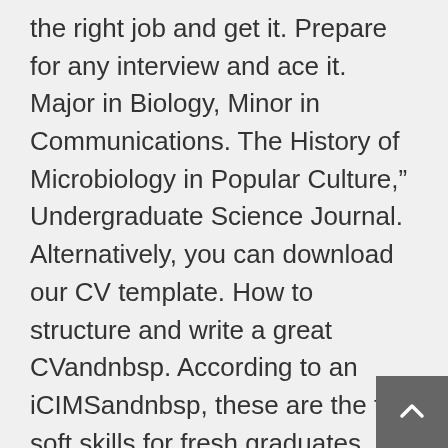the right job and get it. Prepare for any interview and ace it. Major in Biology, Minor in Communications. The History of Microbiology in Popular Culture,” Undergraduate Science Journal. Alternatively, you can download our CV template. How to structure and write a great CVandnbsp. According to an iCIMSandnbsp, these are the top soft skills for fresh graduates. HTML, Java, Analytics, MS Office. Subtle highlights, clear structure, and a two column format make the Nevis template an excellent choice for job seekers looking to impress their next employer. With its customizable background image, two distinct columns, and colourful highlights, the Rainier template is a great way to showcase your personality on your CV. Also check out ourblog on writing a personal profile. All jobs are different of course. For this Estate Management candidate outlines the he operates in and includes lots of important management terms like section includes important factors that employers will look for when